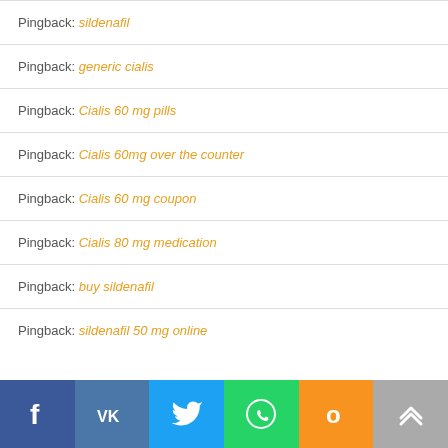Pingback: sildenafil
Pingback: generic cialis
Pingback: Cialis 60 mg pills
Pingback: Cialis 60mg over the counter
Pingback: Cialis 60 mg coupon
Pingback: Cialis 80 mg medication
Pingback: buy sildenafil
Pingback: sildenafil 50 mg online
[Figure (other): Social sharing bar with icons for Facebook, VK, Twitter, WhatsApp, Odnoklassniki, and scroll-to-top]